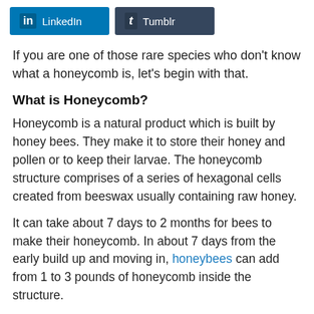[Figure (other): Social share buttons: LinkedIn (blue) and Tumblr (dark blue-grey)]
If you are one of those rare species who don't know what a honeycomb is, let's begin with that.
What is Honeycomb?
Honeycomb is a natural product which is built by honey bees. They make it to store their honey and pollen or to keep their larvae. The honeycomb structure comprises of a series of hexagonal cells created from beeswax usually containing raw honey.
It can take about 7 days to 2 months for bees to make their honeycomb. In about 7 days from the early build up and moving in, honeybees can add from 1 to 3 pounds of honeycomb inside the structure.